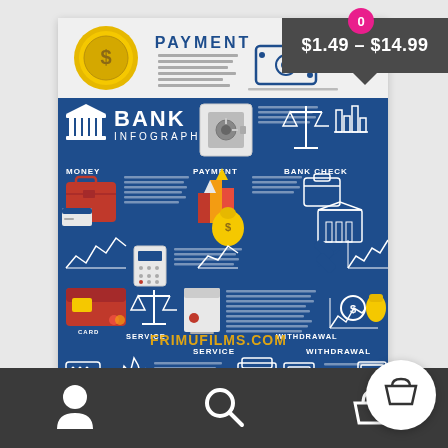[Figure (infographic): Bank infographics product listing page from Frimufilms.com. Shows a payment infographic preview with PAYMENT title, gold coin, bank note icons, and a price tag showing $1.49–$14.99. Main blue panel shows BANK INFOGRAPHICS with icons for money, bank, payment, bank check, cards, scales, service, withdrawal sections. Watermark reads FRIMUFILMS.COM. Bottom strip shows small icons. Nav bar at bottom with person, search, and basket icons.]
PAYMENT
$1.49 – $14.99
BANK INFOGRAPHICS
MONEY
PAYMENT
BANK  CHECK
CARD
SERVICE
WITHDRAWAL
FRIMUFILMS.COM
Digital asset bank banking icons with b...
0